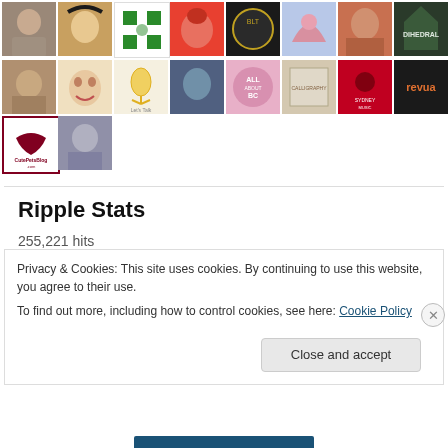[Figure (screenshot): Grid of user avatar thumbnails, 3 rows of 8]
Ripple Stats
255,221 hits
Advertisements
Privacy & Cookies: This site uses cookies. By continuing to use this website, you agree to their use.
To find out more, including how to control cookies, see here: Cookie Policy
Close and accept